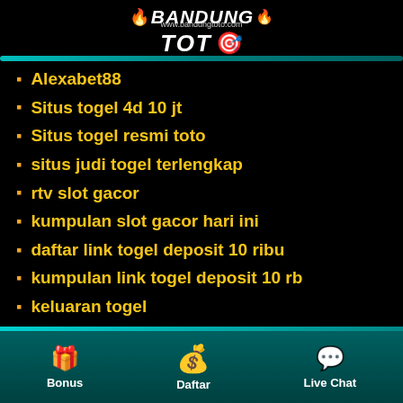[Figure (logo): BandungToto website logo with fire emoji and wheel emoji, URL www.bandungtoto.com]
Alexabet88
Situs togel 4d 10 jt
Situs togel resmi toto
situs judi togel terlengkap
rtv slot gacor
kumpulan slot gacor hari ini
daftar link togel deposit 10 ribu
kumpulan link togel deposit 10 rb
keluaran togel
keluaran togel
keluaran togel
bandar togel resmi deposit 10 ribu
Bonus  Daftar  Live Chat